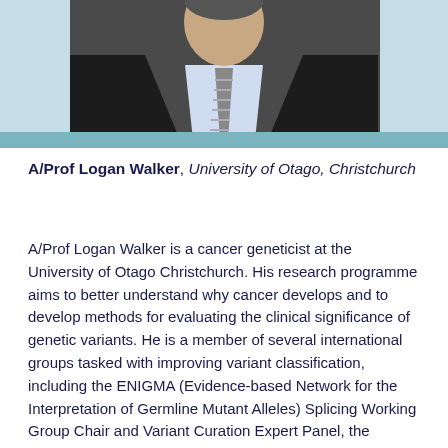[Figure (photo): Headshot photograph of A/Prof Logan Walker, man in dark suit with striped tie and light blue shirt, photographed from chest up against a light blue/teal background.]
A/Prof Logan Walker, University of Otago, Christchurch
A/Prof Logan Walker is a cancer geneticist at the University of Otago Christchurch. His research programme aims to better understand why cancer develops and to develop methods for evaluating the clinical significance of genetic variants. He is a member of several international groups tasked with improving variant classification, including the ENIGMA (Evidence-based Network for the Interpretation of Germline Mutant Alleles) Splicing Working Group Chair and Variant Curation Expert Panel, the ClinGen Hereditary Breast Ovarian and Pancreatic Cancer Variant